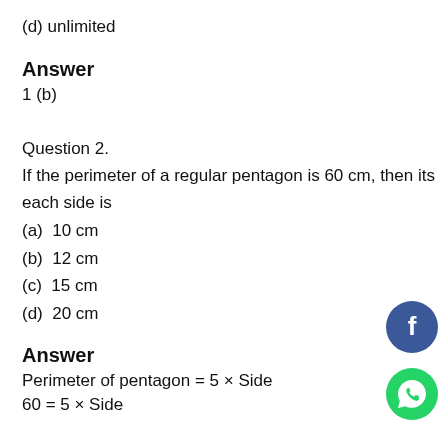(d) unlimited
Answer
1 (b)
Question 2.
If the perimeter of a regular pentagon is 60 cm, then its each side is
(a)  10 cm
(b)  12 cm
(c)  15 cm
(d)  20 cm
Answer
Perimeter of pentagon = 5 × Side
60 = 5 × Side